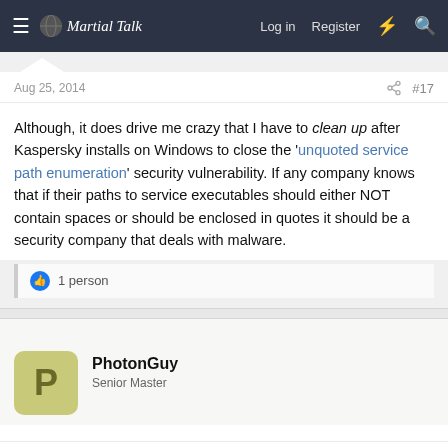Martial Talk — Log in  Register
Aug 25, 2014  #17
Although, it does drive me crazy that I have to clean up after Kaspersky installs on Windows to close the 'unquoted service path enumeration' security vulnerability. If any company knows that if their paths to service executables should either NOT contain spaces or should be enclosed in quotes it should be a security company that deals with malware.
👍 1 person
PhotonGuy
Senior Master
Aug 25, 2014  #18